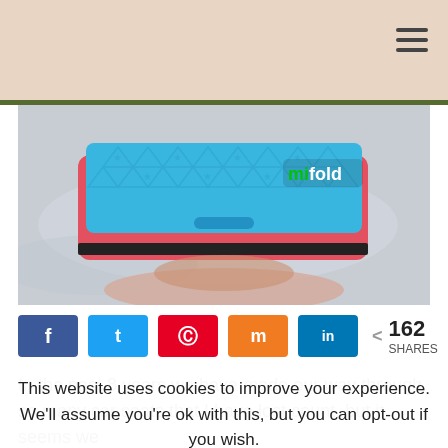[Figure (photo): Header area with peach/beige background and a hamburger menu icon in the top right corner.]
[Figure (photo): Photo of a blue mifold compact booster car seat with pink/red edging being held by a hand, displayed against a marble background. The mifold logo is visible on the top surface.]
[Figure (infographic): Social sharing bar with buttons for Facebook (f), Twitter (t), Pinterest (p), Mix (m), LinkedIn (in) icons, and a share count showing 162 SHARES.]
In the past 8 years we have made our way through so many car seats that I have lost count, but it seems we
This website uses cookies to improve your experience. We'll assume you're ok with this, but you can opt-out if you wish.
Accept
Reject
Read Privacy Policy